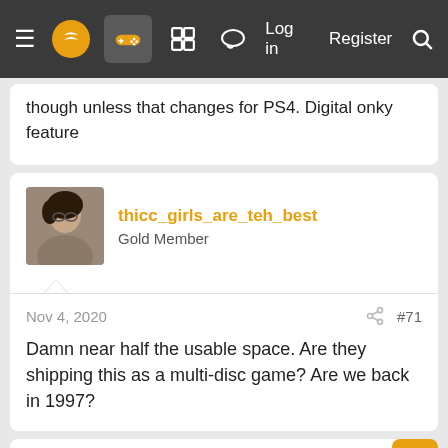Navigation bar with menu, logo, icons, Log in, Register, Search
though unless that changes for PS4. Digital onky feature
thicc_girls_are_teh_best
Gold Member
Nov 4, 2020 #71
Damn near half the usable space. Are they shipping this as a multi-disc game? Are we back in 1997?
StreetsofBeige
Gold Member
Nov 4, 2020
DonJorginho said: